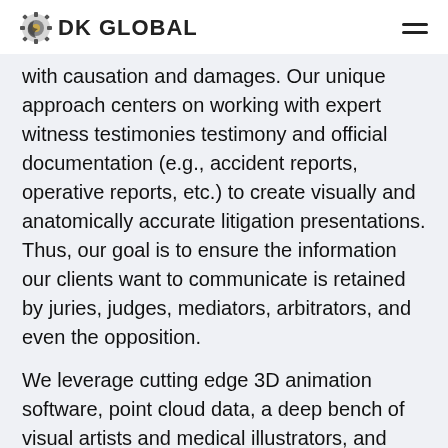DK GLOBAL
with causation and damages. Our unique approach centers on working with expert witness testimonies testimony and official documentation (e.g., accident reports, operative reports, etc.) to create visually and anatomically accurate litigation presentations. Thus, our goal is to ensure the information our clients want to communicate is retained by juries, judges, mediators, arbitrators, and even the opposition.
We leverage cutting edge 3D animation software, point cloud data, a deep bench of visual artists and medical illustrators, and industry best practices to craft visual demonstrations which are designed to